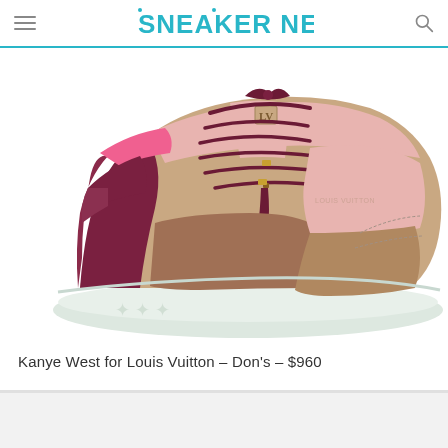SNEAKER NEWS
[Figure (photo): Kanye West for Louis Vuitton Don's sneaker in pink, burgundy, and tan colorway with white sole and Louis Vuitton monogram embossed on the midsole. High-top sneaker with tassel and gold lace locks.]
Kanye West for Louis Vuitton – Don's – $960
[Figure (photo): Bottom portion of another sneaker image, partially visible, light gray/white background.]